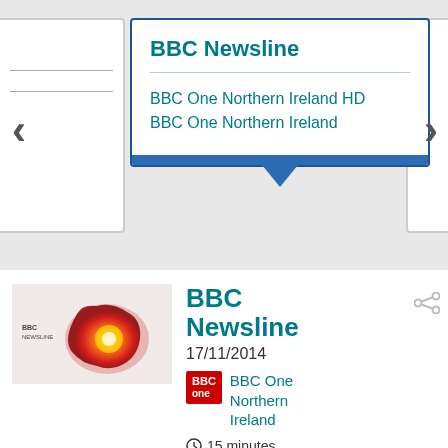BBC Newsline
BBC One Northern Ireland HD
BBC One Northern Ireland
[Figure (screenshot): BBC Newsline programme thumbnail showing BBC Newsline logo with map of Northern Ireland glowing orange-red]
BBC Newsline
17/11/2014
BBC One Northern Ireland
15 minutes